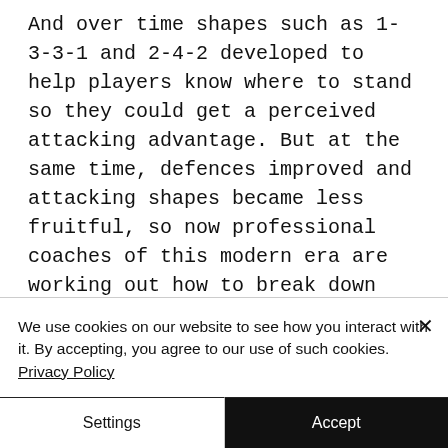And over time shapes such as 1-3-3-1 and 2-4-2 developed to help players know where to stand so they could get a perceived attacking advantage. But at the same time, defences improved and attacking shapes became less fruitful, so now professional coaches of this modern era are working out how to break down defences, often through unstructured play. WTF? Are we coming full circle?
We use cookies on our website to see how you interact with it. By accepting, you agree to our use of such cookies. Privacy Policy